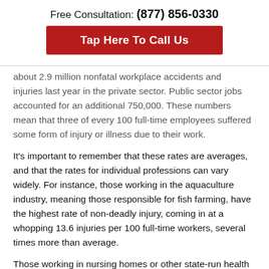Free Consultation: (877) 856-0330
Tap Here To Call Us
about 2.9 million nonfatal workplace accidents and injuries last year in the private sector. Public sector jobs accounted for an additional 750,000. These numbers mean that three of every 100 full-time employees suffered some form of injury or illness due to their work.
It’s important to remember that these rates are averages, and that the rates for individual professions can vary widely. For instance, those working in the aquaculture industry, meaning those responsible for fish farming, have the highest rate of non-deadly injury, coming in at a whopping 13.6 injuries per 100 full-time workers, several times more than average.
Those working in nursing homes or other state-run health care facilities are a close second, with injury rates